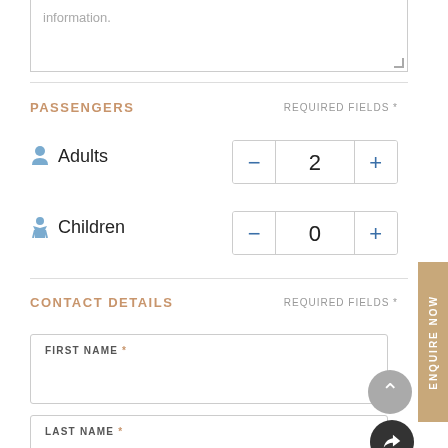information.
PASSENGERS
REQUIRED FIELDS *
Adults
2
Children
0
CONTACT DETAILS
REQUIRED FIELDS *
FIRST NAME *
LAST NAME *